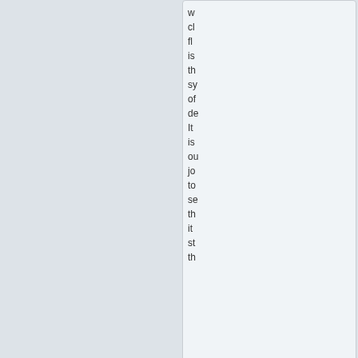w cl fl is th sy of de It is ou jo to se th it st th
[Figure (illustration): Forum post avatar image showing a dark red flag with a golden ouroboros (snake eating its tail) symbol and small white stars, with black horizontal bars, on a dark blue border background]
Naval Monte
Postmaster-General

Posts: 13679
Founded: Sep 04, 2014
QUOTE

by Naval Monte
» Wed Apr 04, 2018 7:18